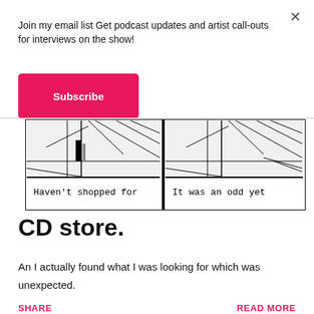Join my email list Get podcast updates and artist call-outs for interviews on the show!
Subscribe
[Figure (illustration): Comic strip panels showing interior scenes with handwritten captions: 'Haven't shopped for' and 'It was an odd yet']
CD store.
An I actually found what I was looking for which was unexpected.
SHARE
READ MORE